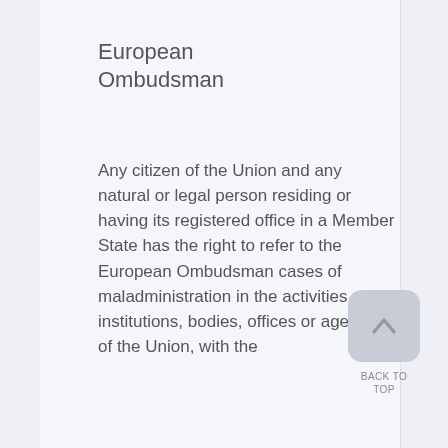European Ombudsman
Any citizen of the Union and any natural or legal person residing or having its registered office in a Member State has the right to refer to the European Ombudsman cases of maladministration in the activities of the institutions, bodies, offices or agencies of the Union, with the